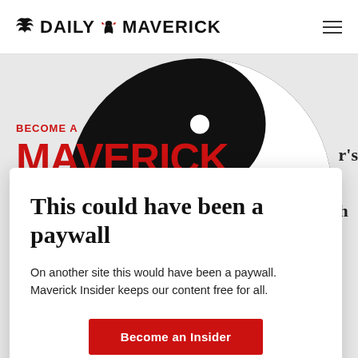DAILY MAVERICK
[Figure (logo): Daily Maverick logo with stylized bird/eagle icon between DAILY and MAVERICK wordmark]
[Figure (illustration): Large partial yin-yang symbol in black and white, cropped, serving as background graphic]
BECOME A MAVERICK INSIDER
This could have been a paywall
On another site this would have been a paywall. Maverick Insider keeps our content free for all.
Become an Insider